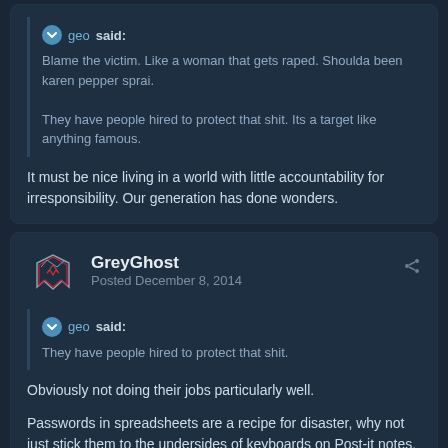geo said: Blame the victim. Like a woman that gets raped. Shoulda been karen pepper sprai. They have people hired to protect that shit. Its a target like anything famous.
It must be nice living in a world with little accountability for irresponsibility. Our generation has done wonders.
GreyGhost Posted December 8, 2014
geo said: They have people hired to protect that shit.
Obviously not doing their jobs particularly well.
Passwords in spreadsheets are a recipe for disaster, why not just stick them to the undersides of keyboards on Post-it notes, like most idiots do. Funnily enough, that would actually be a little more secure than